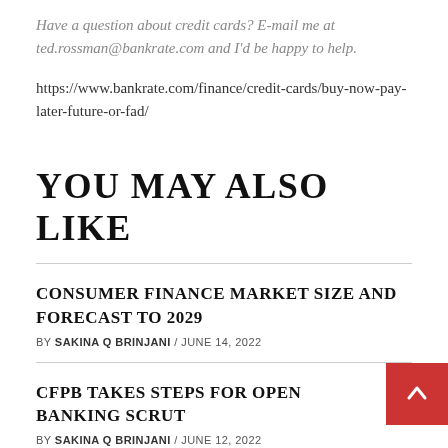Have a question about credit cards? E-mail me at ted.rossman@bankrate.com and I'd be happy to help.
https://www.bankrate.com/finance/credit-cards/buy-now-pay-later-future-or-fad/
YOU MAY ALSO LIKE
CONSUMER FINANCE MARKET SIZE AND FORECAST TO 2029
BY SAKINA Q BRINJANI / JUNE 14, 2022
CFPB TAKES STEPS FOR OPEN BANKING SCRUT
BY SAKINA Q BRINJANI / JUNE 12, 2022